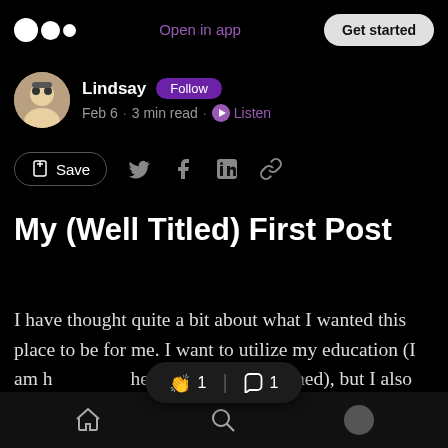Open in app  Get started
Lindsay  Follow
Feb 6 · 3 min read · Listen
Save
My (Well Titled) First Post
I have thought quite a bit about what I wanted this place to be for me. I want to utilize my education (I am [having] he degrees I have earned), but I also did not want to make this feel
home  search  profile